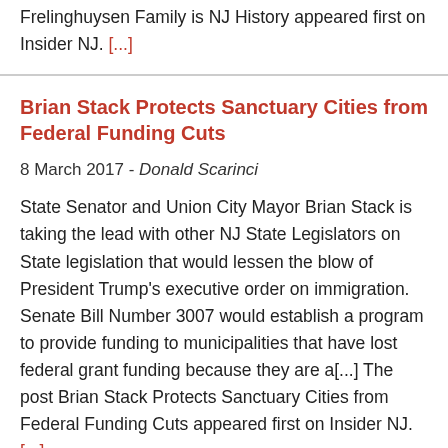Frelinghuysen Family is NJ History appeared first on Insider NJ. [...]
Brian Stack Protects Sanctuary Cities from Federal Funding Cuts
8 March 2017 - Donald Scarinci
State Senator and Union City Mayor Brian Stack is taking the lead with other NJ State Legislators on State legislation that would lessen the blow of President Trump’s executive order on immigration. Senate Bill Number 3007 would establish a program to provide funding to municipalities that have lost federal grant funding because they are a[...] The post Brian Stack Protects Sanctuary Cities from Federal Funding Cuts appeared first on Insider NJ. [...]
Proposed Bill Adds New OPRA Exception